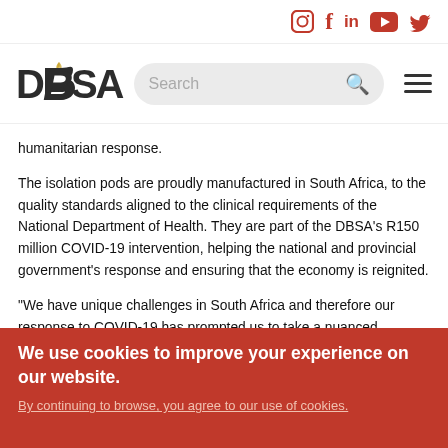[Figure (logo): DBSA logo with social media icons (Instagram, Facebook, LinkedIn, YouTube, Twitter) in red on white header bar]
humanitarian response.
The isolation pods are proudly manufactured in South Africa, to the quality standards aligned to the clinical requirements of the National Department of Health. They are part of the DBSA's R150 million COVID-19 intervention, helping the national and provincial government's response and ensuring that the economy is reignited.
“We have unique challenges in South Africa and therefore our response to COVID-19 has prompted us to take a nuanced approach. The isolation pods are an immediate solution that plugs the gap in the health service delivery value chain with respect to hospital beds, while also responding to the lack of isolation spaces for many of our citizens who cannot properly isolate,” said Chuene Ramphele, Group Executive responsible for COVID-19 interventions and infrastructure delivery.
We use cookies to improve your experience on our website.
By continuing to browse, you agree to our use of cookies.